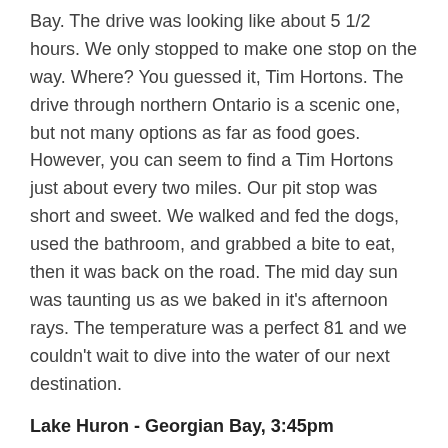Bay. The drive was looking like about 5 1/2 hours. We only stopped to make one stop on the way. Where? You guessed it, Tim Hortons. The drive through northern Ontario is a scenic one, but not many options as far as food goes. However, you can seem to find a Tim Hortons just about every two miles. Our pit stop was short and sweet. We walked and fed the dogs, used the bathroom, and grabbed a bite to eat, then it was back on the road. The mid day sun was taunting us as we baked in it's afternoon rays. The temperature was a perfect 81 and we couldn't wait to dive into the water of our next destination.
Lake Huron - Georgian Bay, 3:45pm
Right on schedule we arrived in Noble at 3:45pm. Drove into the entrance of Killbear Provincial Park and made our way to the dog beach. It must have just been good timing because once again we had the entire area to ourselves. The afternoon sun felt so warm and relaxing on our skin. The water in the Georgian Bay felt incredible!  We swam around